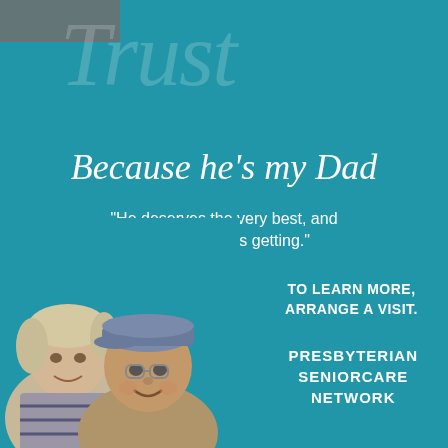[Figure (photo): Advertisement background with teal/blue color and watermark text 'Trust' in large italic script]
Because he's my Dad
“He deserves the very best, and that’s what he’s getting.”
TO LEARN MORE, ARRANGE A VISIT.
[Figure (photo): Photo of an older man wearing a cap and glasses smiling, with a middle-aged woman hugging him from behind]
PRESBYTERIAN SENIORCARE NETWORK